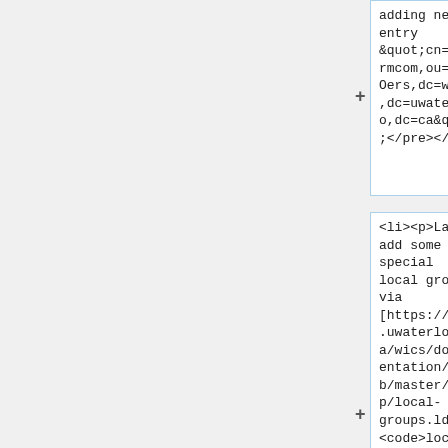adding new entry &quot;cn=%termcom,ou=SUDOers,dc=wics,dc=uwaterloo,dc=ca&quot;;</pre></li>
<li><p>Last, add some special local groups via [https://git.uwaterloo.ca/wics/documentation/blob/master/ldap/local-groups.ldif<code>local-groups.ldif<